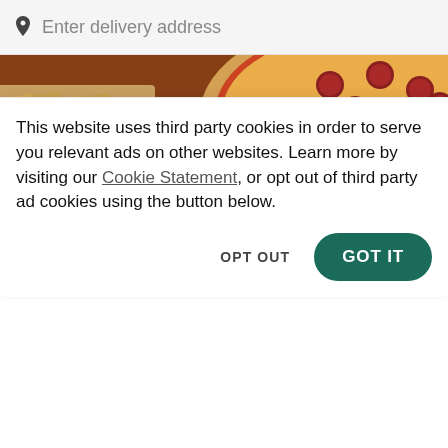Enter delivery address
[Figure (photo): Pizza Hut food photo showing pepperoni pizza in a Pizza Hut box, breadsticks, chicken wings with dipping sauce, and a pretzel on a wooden table]
Pizza Hut (2404 W Main St)
Fast Food • Italian • pizza • wings
2404 W Main St, Battle Ground, WA 98604
This website uses third party cookies in order to serve you relevant ads on other websites. Learn more by visiting our Cookie Statement, or opt out of third party ad cookies using the button below.